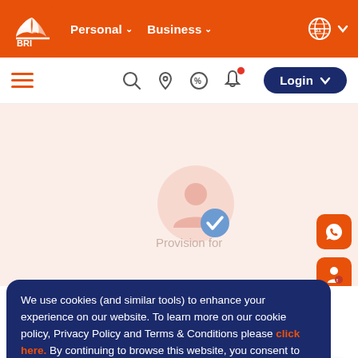[Figure (screenshot): Bank BRI website header with orange background, BRI logo (white shell design), Personal and Business navigation links, and language/globe icon on the right]
[Figure (screenshot): Secondary navigation bar with hamburger menu (orange lines), search icon, location pin icon, percent icon, bell icon with red dot, and navy Login button with chevron]
[Figure (screenshot): Main content area with light orange/peach background, circular profile placeholder icon, blue checkmark badge, and faded text 'Provision for']
We use cookies (and similar tools) to enhance your experience on our website. To learn more on our cookie policy, Privacy Policy and Terms & Conditions please click here. By continuing to browse this website, you consent to our use of cookies and agree to the Privacy Policy and Terms & Conditions.